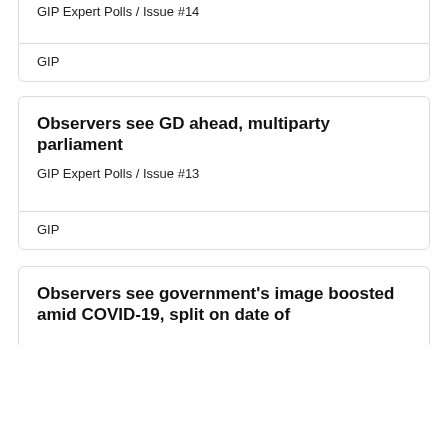GIP Expert Polls / Issue #14
GIP
Observers see GD ahead, multiparty parliament
GIP Expert Polls / Issue #13
GIP
Observers see government's image boosted amid COVID-19, split on date of